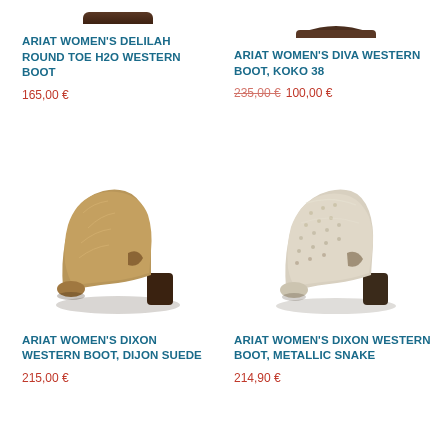[Figure (photo): Partial view of a dark brown western boot from above, cropped at top of page, top-left product]
[Figure (photo): Partial view of a dark brown western boot from above, cropped at top of page, top-right product]
ARIAT WOMEN'S DELILAH ROUND TOE H2O WESTERN BOOT
ARIAT WOMEN'S DIVA WESTERN BOOT, KOKO 38
165,00 €
235,00 € 100,00 €
[Figure (photo): Ariat women's Dixon western boot in Dijon Suede — a tan/brown ankle boot with cutout sides and stacked heel, pointing left]
[Figure (photo): Ariat women's Dixon western boot in Metallic Snake — a silver/cream snakeskin-textured ankle boot with cutout sides and stacked heel, pointing right]
ARIAT WOMEN'S DIXON WESTERN BOOT, DIJON SUEDE
ARIAT WOMEN'S DIXON WESTERN BOOT, METALLIC SNAKE
215,00 €
214,90 €